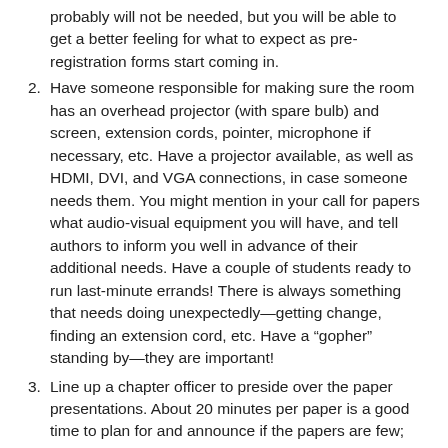probably will not be needed, but you will be able to get a better feeling for what to expect as pre-registration forms start coming in.
2. Have someone responsible for making sure the room has an overhead projector (with spare bulb) and screen, extension cords, pointer, microphone if necessary, etc. Have a projector available, as well as HDMI, DVI, and VGA connections, in case someone needs them. You might mention in your call for papers what audio-visual equipment you will have, and tell authors to inform you well in advance of their additional needs. Have a couple of students ready to run last-minute errands! There is always something that needs doing unexpectedly—getting change, finding an extension cord, etc. Have a “gopher” standing by—they are important!
3. Line up a chapter officer to preside over the paper presentations. About 20 minutes per paper is a good time to plan for and announce if the papers are few; 10 or 12 minutes (including time for questions) if there are many.